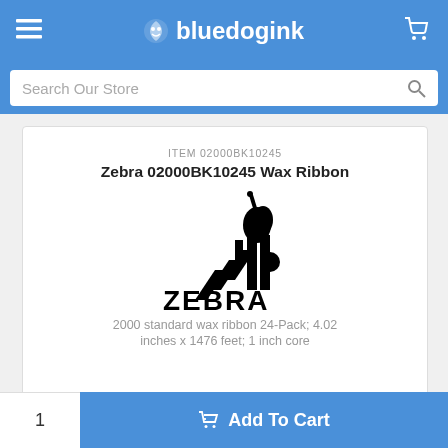bluedogink
Search Our Store
ITEM 02000BK10245
Zebra 02000BK10245 Wax Ribbon
[Figure (logo): Zebra Technologies logo — stylized zebra head icon above bold text ZEBRA]
2000 standard wax ribbon 24-Pack; 4.02 inches x 1476 feet; 1 inch core
1  Add To Cart